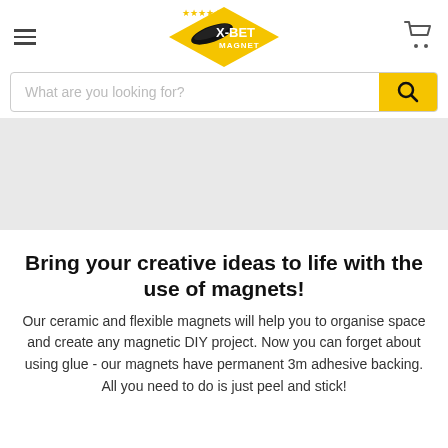[Figure (logo): X-BET MAGNET logo with gold stars, flying disc, and yellow diamond shape]
[Figure (illustration): Gray placeholder banner image area]
Bring your creative ideas to life with the use of magnets!
Our ceramic and flexible magnets will help you to organise space and create any magnetic DIY project. Now you can forget about using glue - our magnets have permanent 3m adhesive backing. All you need to do is just peel and stick!